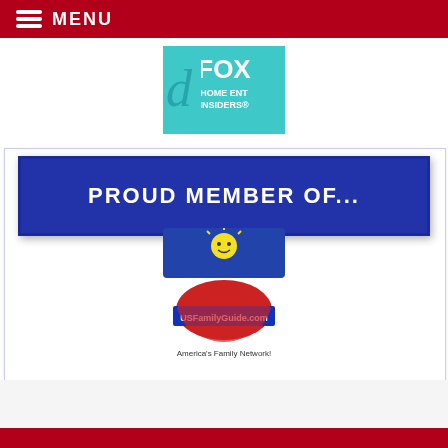MENU
[Figure (logo): FOX Home Entertainment Insiders logo on teal background]
[Figure (illustration): Blue banner reading PROUD MEMBER OF...]
[Figure (logo): USFamilyGuide.com logo with America's Family Network! and Moms Connect Member text]